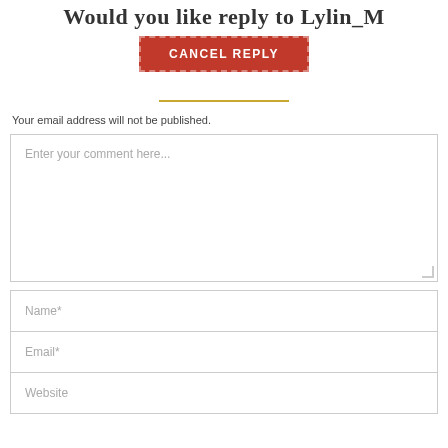Would you like reply to Lylin_M
CANCEL REPLY
Your email address will not be published.
Enter your comment here...
Name*
Email*
Website